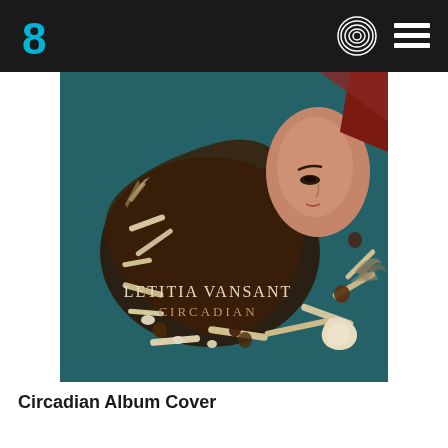Behance header with logo and navigation icons
[Figure (photo): Album cover for 'Circadian' by Letitia VanSant. A woman with long dark hair lies on a teal surface surrounded by driftwood, pine cones, shells, and dried plants arranged in a circular pattern. Text on the image reads 'LETITIA VANSANT' and 'CIRCADIAN'.]
Circadian Album Cover